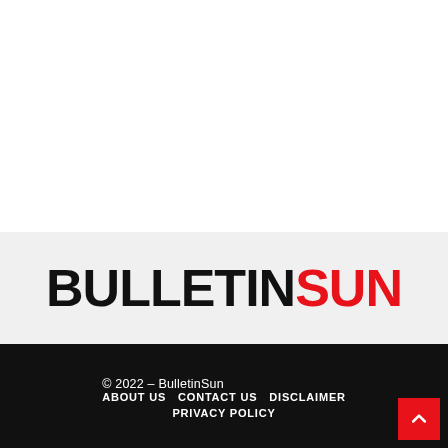[Figure (logo): BulletinSun logo with BULLETIN in black bold and SUN in red bold on a light grey background]
© 2022 – BulletinSun
ABOUT US   CONTACT US   DISCLAIMER
PRIVACY POLICY